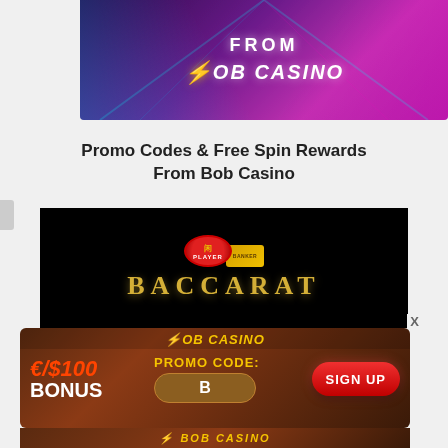[Figure (illustration): Bob Casino banner with purple/pink neon background, 'FROM' text at top and Bob Casino logo with lightning bolt]
Promo Codes & Free Spin Rewards From Bob Casino
[Figure (screenshot): Baccarat game promotional image on black background with player/banker chips and gold BACCARAT text]
[Figure (illustration): Bob Casino popup overlay showing €/$100 BONUS promo code field with 'B' and SIGN UP button]